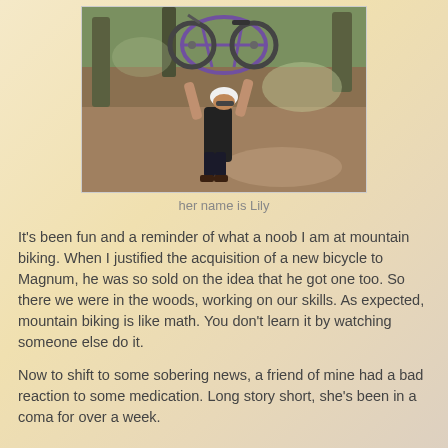[Figure (photo): Person holding a mountain bike above their head on a forest trail, wearing a helmet and athletic clothing]
her name is Lily
It's been fun and a reminder of what a noob I am at mountain biking.  When I justified the acquisition of a new bicycle to Magnum, he was so sold on the idea that he got one too.  So there we were in the woods, working on our skills.  As expected, mountain biking is like math.  You don't learn it by watching someone else do it.
Now to shift to some sobering news, a friend of mine had a bad reaction to some medication.  Long story short, she's been in a coma for over a week.